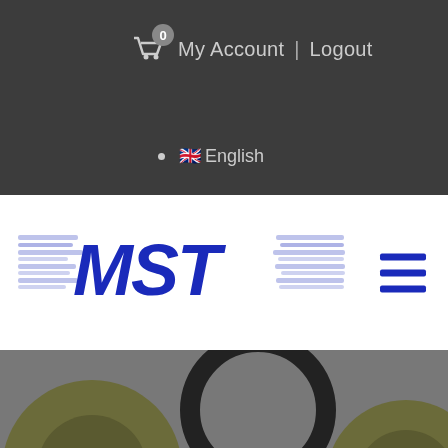0  My Account | Logout
🇬🇧 English
[Figure (logo): MST company logo with blue bold MST text and tire-track graphic elements on white background]
[Figure (photo): Photo of automotive V-Belt and pulleys on grey background, showing a black V-belt loop, two pulleys, and a label reading V-Belt]